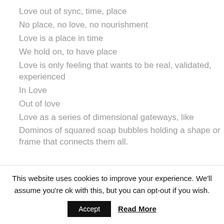Love out of sync, time, place
No place, no love, no nourishment
Love is a place in time
We hold on, to have place
Love is only feeling that wants to be real, validated, experienced
In Love
Out of love
Love as a series of dimensional gateways, like
Dominos of squared soap bubbles holding a shape or frame that connects them all.
This website uses cookies to improve your experience. We'll assume you're ok with this, but you can opt-out if you wish. Accept Read More